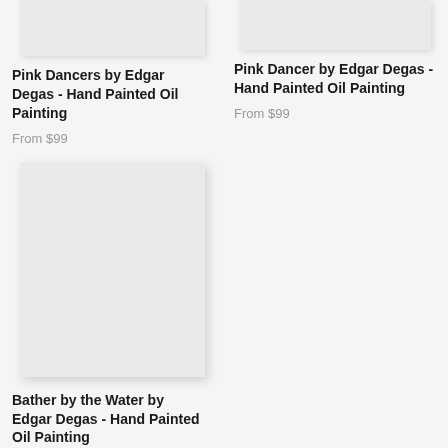[Figure (photo): Product image placeholder for Pink Dancers painting (top portion visible, cropped)]
Pink Dancers by Edgar Degas - Hand Painted Oil Painting
From $99
[Figure (photo): Product image placeholder for Pink Dancer painting (top portion visible, cropped)]
Pink Dancer by Edgar Degas - Hand Painted Oil Painting
From $99
[Figure (photo): Product image placeholder for Bather by the Water painting (full image visible)]
Bather by the Water by Edgar Degas - Hand Painted Oil Painting
From $179